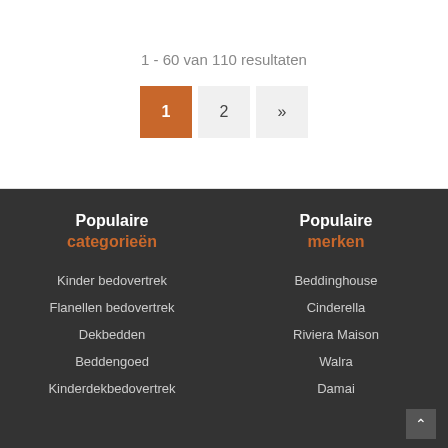1 - 60 van 110 resultaten
1  2  »
Populaire categorieën
Kinder bedovertrek
Flanellen bedovertrek
Dekbedden
Beddengoed
Kinderdekbedovertrek
Populaire merken
Beddinghouse
Cinderella
Riviera Maison
Walra
Damai